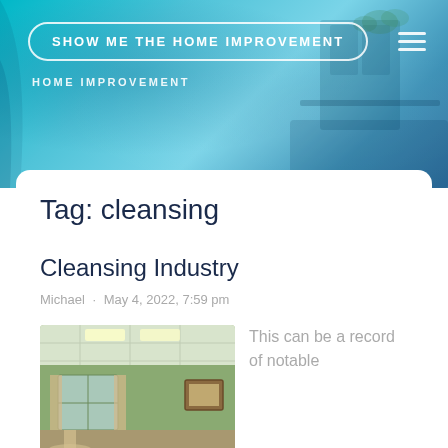SHOW ME THE HOME IMPROVEMENT
HOME IMPROVEMENT
Tag: cleansing
Cleansing Industry
Michael · May 4, 2022, 7:59 pm
[Figure (photo): Interior room photo with green walls, drop ceiling with fluorescent lights, curtains, and framed pictures]
This can be a record of notable